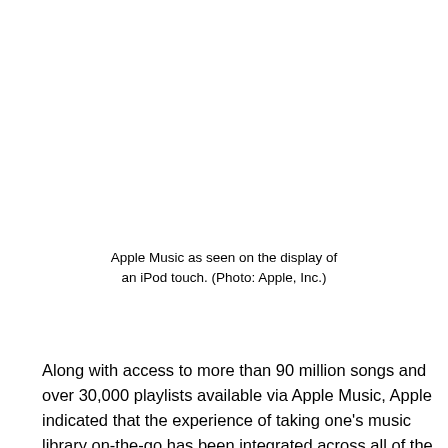[Figure (photo): Apple Music as seen on the display of an iPod touch (image area, photo by Apple, Inc.)]
Apple Music as seen on the display of an iPod touch. (Photo: Apple, Inc.)
Along with access to more than 90 million songs and over 30,000 playlists available via Apple Music, Apple indicated that the experience of taking one's music library on-the-go has been integrated across all of the company's products: from AirPods, Apple Watch, and HomePod mini, to iPad, iPhone, and Mac.